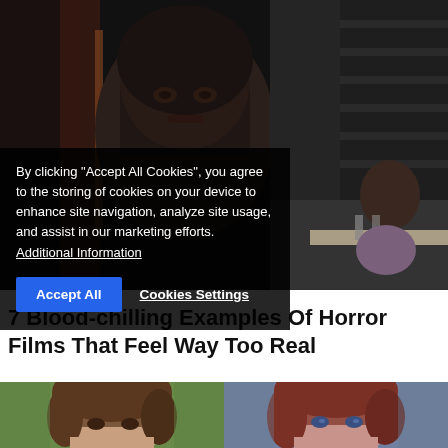[Figure (photo): Top image: dark horror movie scene with an Asian woman peering through a curtain on the left, and a woman seated at a restaurant table on the right with stairs in background]
By clicking "Accept All Cookies", you agree to the storing of cookies on your device to enhance site navigation, analyze site usage, and assist in our marketing efforts. Additional Information
7 Blood-chilling Examples Of Horror Films That Feel Way Too Real
[Figure (photo): Bottom-left: young woman with brown hair, outdoors with blurred green background]
[Figure (photo): Bottom-right: young woman with reddish-brown hair, looking at camera with blue eyes]